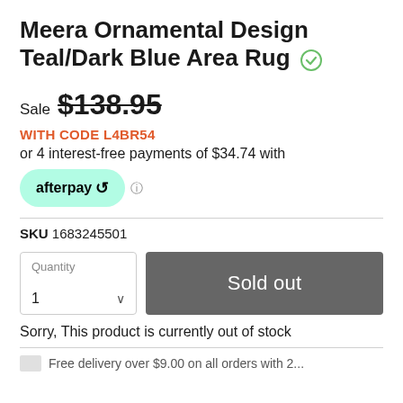Meera Ornamental Design Teal/Dark Blue Area Rug
Sale $138.95
WITH CODE L4BR54
or 4 interest-free payments of $34.74 with
afterpay
SKU 1683245501
Quantity 1
Sold out
Sorry, This product is currently out of stock